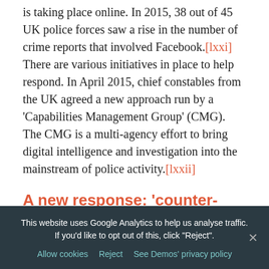is taking place online. In 2015, 38 out of 45 UK police forces saw a rise in the number of crime reports that involved Facebook.[lxxi] There are various initiatives in place to help respond. In April 2015, chief constables from the UK agreed a new approach run by a 'Capabilities Management Group' (CMG). The CMG is a multi-agency effort to bring digital intelligence and investigation into the mainstream of police activity.[lxxii]
A new response: 'counter-speech'
In recent months there has been increased concern about various extremist groups using social media. As a result, there have been some
This website uses Google Analytics to help us analyse traffic. If you'd like to opt out of this, click "Reject".
Allow cookies   Reject   See Demos' privacy policy